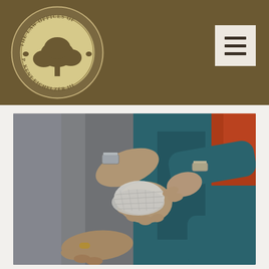[Figure (logo): Circular logo for The Law Offices of P. Kent Eichelzer III, featuring a tree in the center on a brown/tan background]
[Figure (other): Hamburger menu icon (three horizontal lines) on a light beige/cream square background]
[Figure (photo): Close-up photo of hands bandaging an injured wrist/hand, with people wearing watches and teal/blue and red clothing in the background]